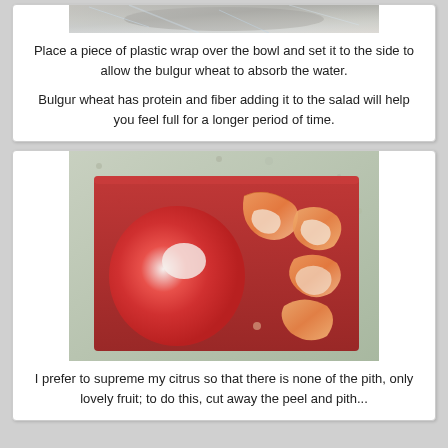[Figure (photo): Partial top photo showing a bowl covered with plastic wrap, cut off at top of page]
Place a piece of plastic wrap over the bowl and set it to the side to allow the bulgur wheat to absorb the water.

Bulgur wheat has protein and fiber adding it to the salad will help you feel full for a longer period of time.
[Figure (photo): Photo of a peeled grapefruit with its peel/pith pieces on a red cutting board on a granite countertop]
I prefer to supreme my citrus so that there is none of the pith, only lovely fruit; to do this, cut away the peel and pith...